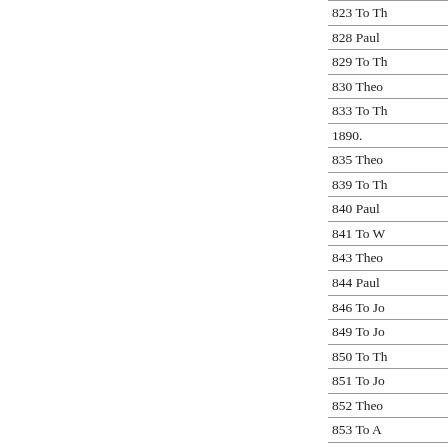823 To Th
828 Paul
829 To Th
830 Theo
833 To Th
1890.
835 Theo
839 To Th
840 Paul
841 To W
843 Theo
844 Paul
846 To Jo
849 To Jo
850 To Th
851 To Jo
852 Theo
853 To A
854 To Th